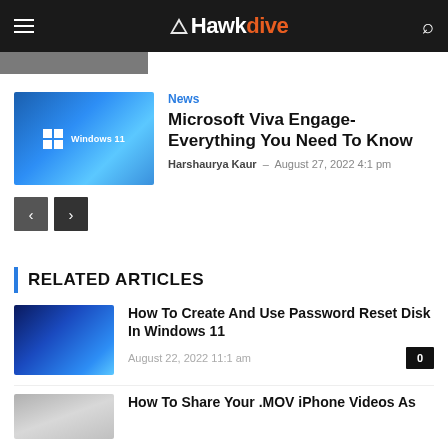HawkDive
[Figure (screenshot): Partial image strip at top of page]
News
Microsoft Viva Engage- Everything You Need To Know
Harshaurya Kaur - August 27, 2022 4:1 pm
[Figure (photo): Windows 11 logo on blue abstract background]
RELATED ARTICLES
How To Create And Use Password Reset Disk In Windows 11
August 22, 2022 11:1 am
[Figure (photo): Blue abstract Windows 11 wallpaper thumbnail]
How To Share Your .MOV iPhone Videos As